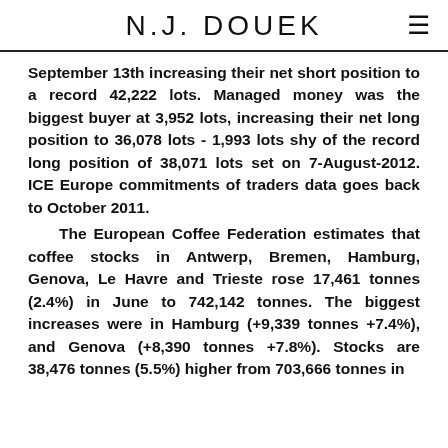N.J. DOUEK
September 13th increasing their net short position to a record 42,222 lots. Managed money was the biggest buyer at 3,952 lots, increasing their net long position to 36,078 lots - 1,993 lots shy of the record long position of 38,071 lots set on 7-August-2012. ICE Europe commitments of traders data goes back to October 2011.

The European Coffee Federation estimates that coffee stocks in Antwerp, Bremen, Hamburg, Genova, Le Havre and Trieste rose 17,461 tonnes (2.4%) in June to 742,142 tonnes. The biggest increases were in Hamburg (+9,339 tonnes +7.4%), and Genova (+8,390 tonnes +7.8%). Stocks are 38,476 tonnes (5.5%) higher from 703,666 tonnes in